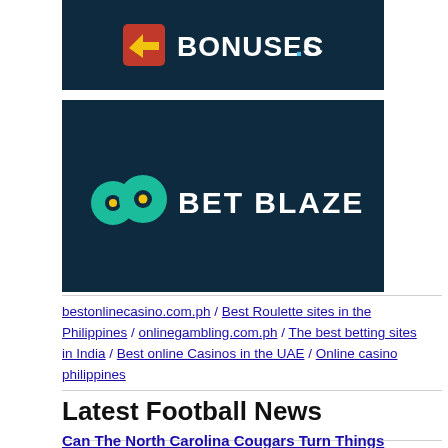[Figure (logo): Bonuses.com logo on dark blue background with red/yellow icon]
[Figure (logo): Bet Blazers logo on dark teal/navy background with teal and yellow 'bb' icon]
bestonlinecasino.com.ph / Best Roulette sites in the Philippines / onlinegambling.com.ph / The best betting sites in India / Best online Casinos in the UAE / Online casino philippines
Latest Football News
Can The North Carolina Cougars Turn Things